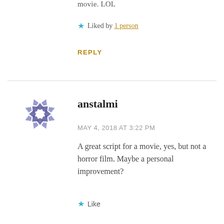movie. LOL
★ Liked by 1 person
REPLY
[Figure (logo): WordPress avatar icon — a blue/purple diamond-segment ring shape]
anstalmi
MAY 4, 2018 AT 3:22 PM
A great script for a movie, yes, but not a horror film. Maybe a personal improvement?
★ Like